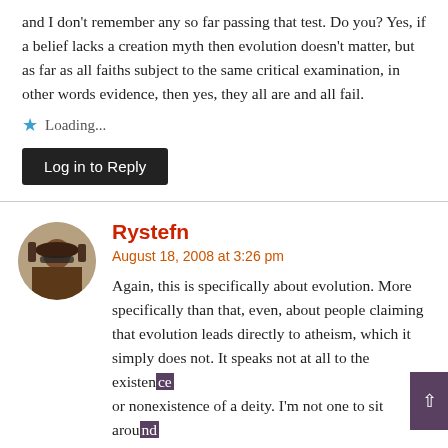and I don't remember any so far passing that test. Do you? Yes, if a belief lacks a creation myth then evolution doesn't matter, but as far as all faiths subject to the same critical examination, in other words evidence, then yes, they all are and all fail.
Loading...
Log in to Reply
Rystefn
August 18, 2008 at 3:26 pm
Again, this is specifically about evolution. More specifically than that, even, about people claiming that evolution leads directly to atheism, which it simply does not. It speaks not at all to the existence or nonexistence of a deity. I'm not one to sit around repeating myself, but we are discussing here one specific critical examination, and that is evolution